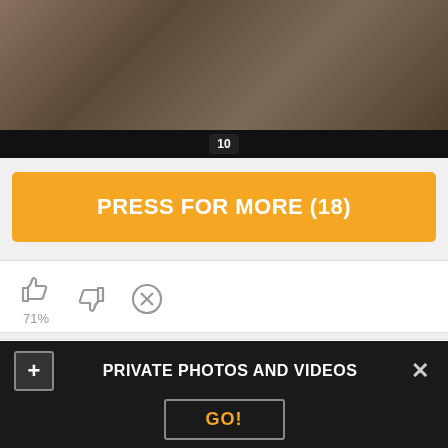[Figure (screenshot): Video thumbnail showing people on a couch, with a black bottom bar showing the number 10]
PRESS FOR MORE (18)
71%
Comments (10)
PRIVATE PHOTOS AND VIDEOS
GO!